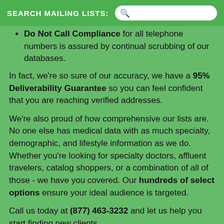SEARCH MAILING LISTS:
Do Not Call Compliance for all telephone numbers is assured by continual scrubbing of our databases.
In fact, we're so sure of our accuracy, we have a 95% Deliverability Guarantee so you can feel confident that you are reaching verified addresses.
We're also proud of how comprehensive our lists are. No one else has medical data with as much specialty, demographic, and lifestyle information as we do. Whether you're looking for specialty doctors, affluent travelers, catalog shoppers, or a combination of all of those - we have you covered. Our hundreds of select options ensure your ideal audience is targeted.
Call us today at (877) 463-3232 and let us help you start finding new clients.